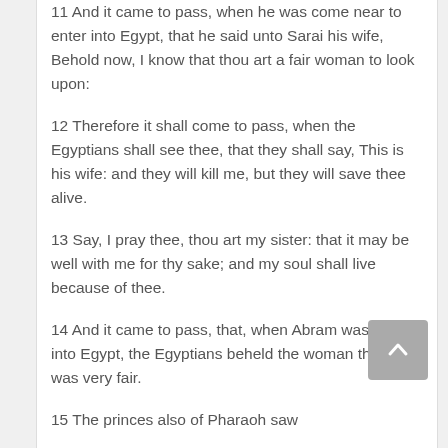11 And it came to pass, when he was come near to enter into Egypt, that he said unto Sarai his wife, Behold now, I know that thou art a fair woman to look upon:
12 Therefore it shall come to pass, when the Egyptians shall see thee, that they shall say, This is his wife: and they will kill me, but they will save thee alive.
13 Say, I pray thee, thou art my sister: that it may be well with me for thy sake; and my soul shall live because of thee.
14 And it came to pass, that, when Abram was come into Egypt, the Egyptians beheld the woman that she was very fair.
15 The princes also of Pharaoh saw